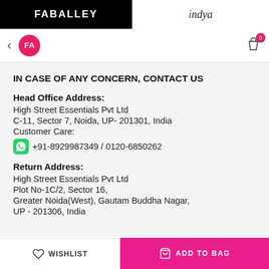FABALLEY | indya
[Figure (logo): Navigation bar with back arrow, FA pink circle logo, and shopping bag icon with 0 badge]
IN CASE OF ANY CONCERN, CONTACT US
Head Office Address:
High Street Essentials Pvt Ltd
C-11, Sector 7, Noida, UP- 201301, India
Customer Care:
+91-8929987349 / 0120-6850262
Return Address:
High Street Essentials Pvt Ltd
Plot No-1C/2, Sector 16,
Greater Noida(West), Gautam Buddha Nagar,
UP - 201306, India
WISHLIST | ADD TO BAG